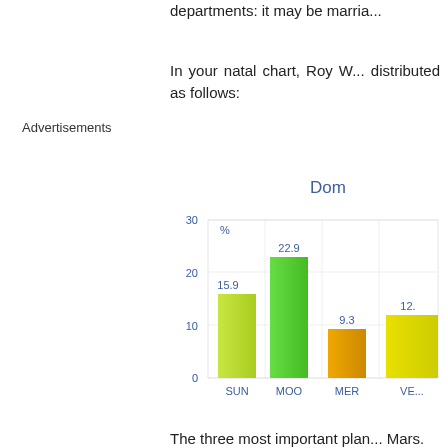departments: it may be marria...
In your natal chart, Roy W... distributed as follows:
Advertisements
Dom
[Figure (bar-chart): Dominant planets chart]
The three most important plan... Mars.
The Moon is one of the mo...